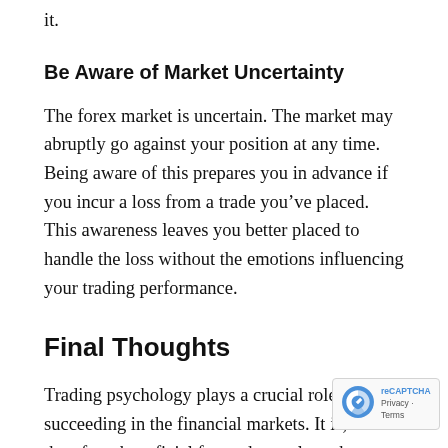it.
Be Aware of Market Uncertainty
The forex market is uncertain. The market may abruptly go against your position at any time. Being aware of this prepares you in advance if you incur a loss from a trade you’ve placed. This awareness leaves you better placed to handle the loss without the emotions influencing your trading performance.
Final Thoughts
Trading psychology plays a crucial role in succeeding in the financial markets. It is, therefore, beneficial for traders to learn how to control their emotions to improve their trading performance.